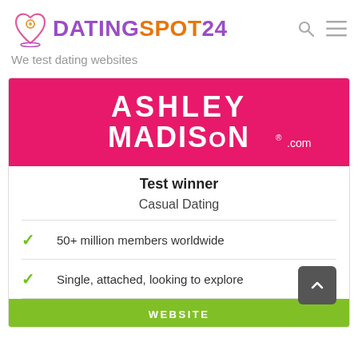[Figure (logo): DatingSpot24 logo with heart icon and map pin, text DATINGSPOT24]
We test dating websites
[Figure (logo): Ashley Madison pink banner logo with ASHLEY MADISON.COM in white text]
Test winner
Casual Dating
50+ million members worldwide
Single, attached, looking to explore
WEBSITE